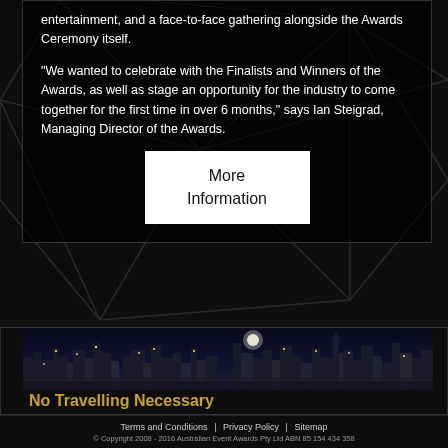entertainment, and a face-to-face gathering alongside the Awards Ceremony itself.
"We wanted to celebrate with the Finalists and Winners of the Awards, as well as stage an opportunity for the industry to come together for the first time in over 6 months," says Ian Steigrad, Managing Director of the Awards.
[Figure (other): White button/box with text 'More Information']
[Figure (photo): Night cityscape/skyline photograph showing city lights and buildings at night]
No Travelling Necessary
Terms and Conditions   Privacy Policy   Sitemap
© Copyright 2008 - 2016 Australian Event Awards Pty Ltd ABN 85 154 434 358